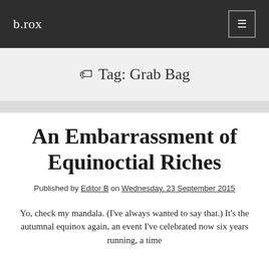b.rox
Tag: Grab Bag
An Embarrassment of Equinoctial Riches
Published by Editor B on Wednesday, 23 September 2015
Yo, check my mandala. (I've always wanted to say that.) It's the autumnal equinox again, an event I've celebrated now six years running, a time